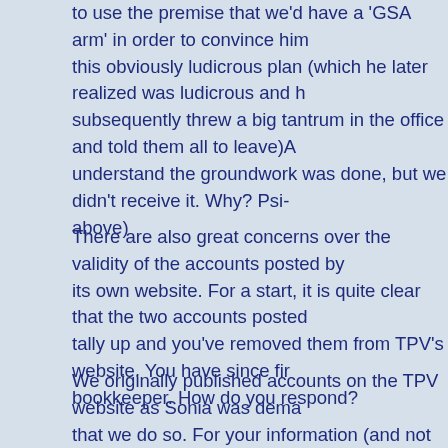to use the premise that we'd have a 'USA arm' in order to convince him this obviously ludicrous plan (which he later realized was ludicrous and h subsequently threw a big tantrum in the office and told them all to leave)A understand the groundwork was done, but we didn't receive it. Why? Psi- above)
There are also great concerns over the validity of the accounts posted by its own website. For a start, it is quite clear that the two accounts posted tally up and you've removed them from TPV's website. You have since fir bookkeeper. How do you respond?
We originally published accounts on the TPV website as Sonia was dema that we do so. For your information (and not many people realise this) So and she actually works directly for me as part of my team. So the "dema see the accounts" was a clever ploy by me (I'm actually really very clever publish inaccurate accounts on the website. The ploy was so clever many are still wondering what the purpose of it was! I often lay in bed at night w the very same thing! Now THAT'S genius.
Many donators were promised clothing that was manufactured by Fear & a company active in the truth scene, and viewed by many as ethical with